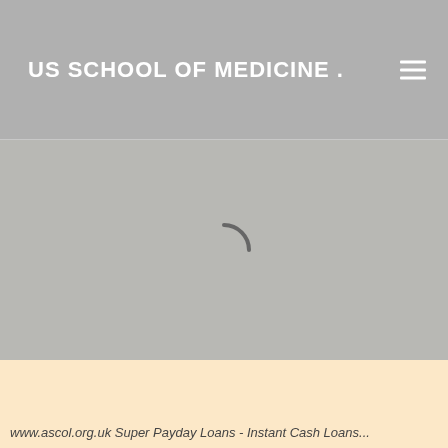US SCHOOL OF MEDICINE .
[Figure (screenshot): Loading spinner (partial arc) displayed on a gray content area, indicating a page is loading]
www.ascol.org.uk Super Payday Loans - Instant Cash Loans...